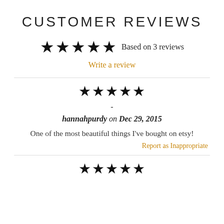CUSTOMER REVIEWS
★★★★★ Based on 3 reviews
Write a review
★★★★★
-
hannahpurdy on Dec 29, 2015
One of the most beautiful things I've bought on etsy!
Report as Inappropriate
★★★★★